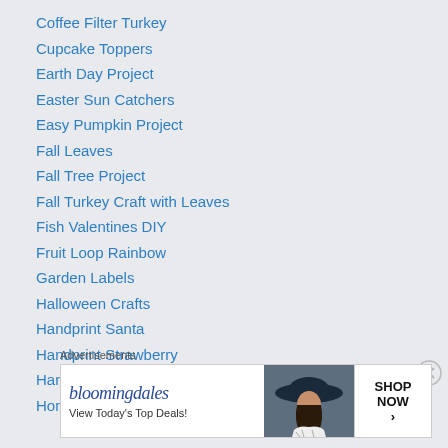Coffee Filter Turkey
Cupcake Toppers
Earth Day Project
Easter Sun Catchers
Easy Pumpkin Project
Fall Leaves
Fall Tree Project
Fall Turkey Craft with Leaves
Fish Valentines DIY
Fruit Loop Rainbow
Garden Labels
Halloween Crafts
Handprint Santa
Handprint Strawberry
Handprint Sunflowers
Homemade Bubbles
Advertisements
[Figure (other): Bloomingdales advertisement banner: logo text 'bloomingdales', tagline 'View Today’s Top Deals!', woman in wide-brim hat, 'SHOP NOW >' button]